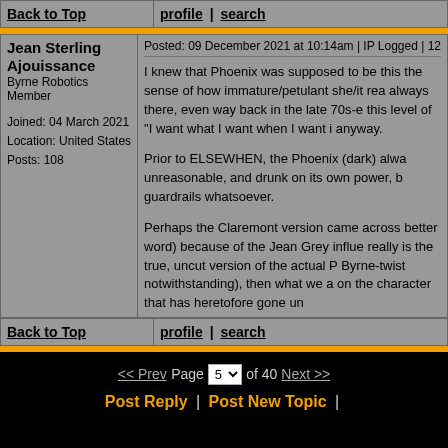| Back to Top | profile | search |
| --- | --- |
| Jean Sterling Ajouissance
Byrne Robotics Member

Joined: 04 March 2021
Location: United States
Posts: 108 | Posted: 09 December 2021 at 10:14am | IP Logged | 12

I knew that Phoenix was supposed to be this the sense of how immature/petulant she/it rea always there, even way back in the late 70s-e this level of "I want what I want when I want i anyway.

Prior to ELSEWHEN, the Phoenix (dark) alwa unreasonable, and drunk on its own power, b guardrails whatsoever.

Perhaps the Claremont version came across better word) because of the Jean Grey influe really is the true, uncut version of the actual P Byrne-twist notwithstanding), then what we a on the character that has heretofore gone un |
| Back to Top | profile | search |
<< Prev Page 5 of 40 Next >>
Post Reply | Post New Topic |